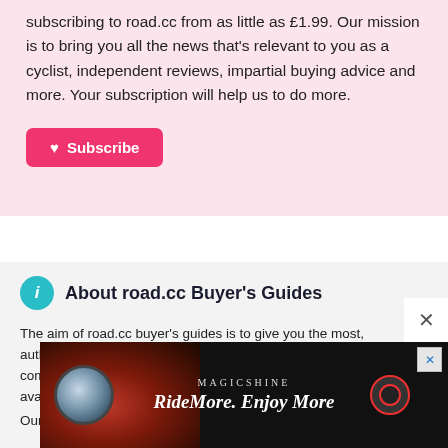subscribing to road.cc from as little as £1.99. Our mission is to bring you all the news that's relevant to you as a cyclist, independent reviews, impartial buying advice and more. Your subscription will help us to do more.
Subscribe
About road.cc Buyer's Guides
The aim of road.cc buyer's guides is to give you the most, authoritative, objective and up-to-date buying advice. We com... es, ava...
Our
[Figure (screenshot): Magicshine advertisement banner: RideMore. Enjoy More with cycling lights imagery and close button]